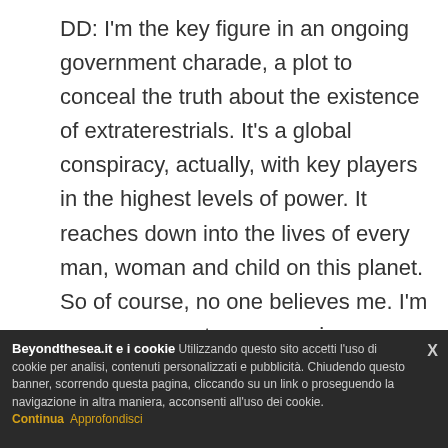DD: I'm the key figure in an ongoing government charade, a plot to conceal the truth about the existence of extraterestrials. It's a global conspiracy, actually, with key players in the highest levels of power. It reaches down into the lives of every man, woman and child on this planet. So of course, no one believes me. I'm an annoyance to my superiours, a joke to my peers. They call me 'Spooky.' 'Spooky' Mulder, whose sister was abducted by aliens when he was just a kid. And now he chases after little green ment with a badge and a gun, just shouting for the heavens or anyone that
Beyondthesea.it e i cookie Utilizzando questo sito accetti l'uso di cookie per analisi, contenuti personalizzati e pubblicità. Chiudendo questo banner, scorrendo questa pagina, cliccando su un link o proseguendo la navigazione in altra maniera, acconsenti all'uso dei cookie. Continua Approfondisci